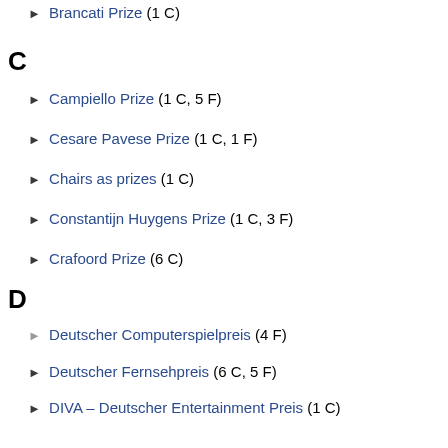▶ Brancati Prize (1 C)
C
▶ Campiello Prize (1 C, 5 F)
▶ Cesare Pavese Prize (1 C, 1 F)
▶ Chairs as prizes (1 C)
▶ Constantijn Huygens Prize (1 C, 3 F)
▶ Crafoord Prize (6 C)
D
▶ Deutscher Computerspielpreis (4 F)
▶ Deutscher Fernsehpreis (6 C, 5 F)
▶ DIVA – Deutscher Entertainment Preis (1 C)
▶ Dogs and prizes (1 C, 5 F)
▶ Charles Stark Draper Prize (1 C, 1 F)